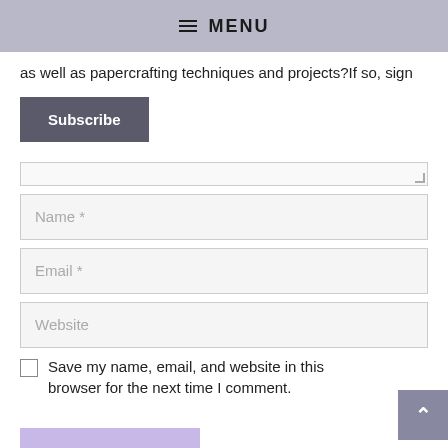≡ MENU
as well as papercrafting techniques and projects?If so, sign
Subscribe
Name *
Email *
Website
Save my name, email, and website in this browser for the next time I comment.